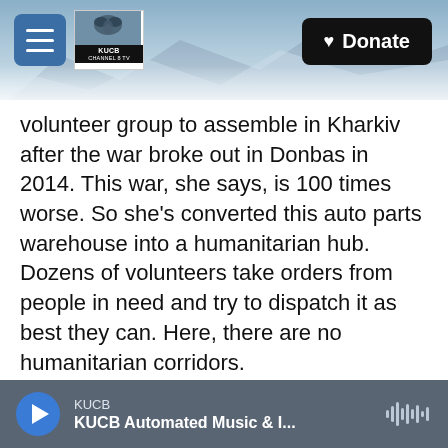[Figure (screenshot): Top banner with mountain/sky background image, a blue hamburger menu button, KUCB Channel 8 TV logo, and a black Donate button with heart icon.]
volunteer group to assemble in Kharkiv after the war broke out in Donbas in 2014. This war, she says, is 100 times worse. So she's converted this auto parts warehouse into a humanitarian hub. Dozens of volunteers take orders from people in need and try to dispatch it as best they can. Here, there are no humanitarian corridors.
ALICE VENITSEVA: (Through interpreter) Nobody knows what is actually happening and why they're shelling the areas that they're shelling. Absolutely chaos there. And they just shell it randomly.
PERALTA: Sometimes, she says, volunteers come
[Figure (screenshot): Bottom audio player bar showing KUCB station, 'KUCB Automated Music & I...' title, blue play button, and audio waveform icon.]